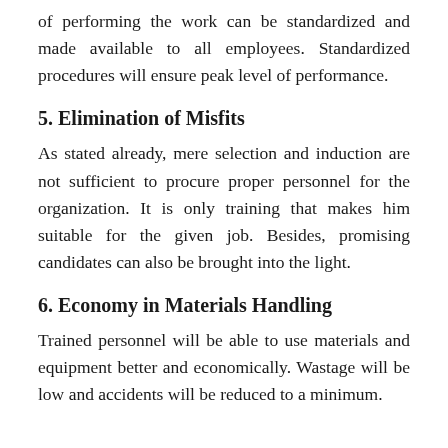of performing the work can be standardized and made available to all employees. Standardized procedures will ensure peak level of performance.
5. Elimination of Misfits
As stated already, mere selection and induction are not sufficient to procure proper personnel for the organization. It is only training that makes him suitable for the given job. Besides, promising candidates can also be brought into the light.
6. Economy in Materials Handling
Trained personnel will be able to use materials and equipment better and economically. Wastage will be low and accidents will be reduced to a minimum.